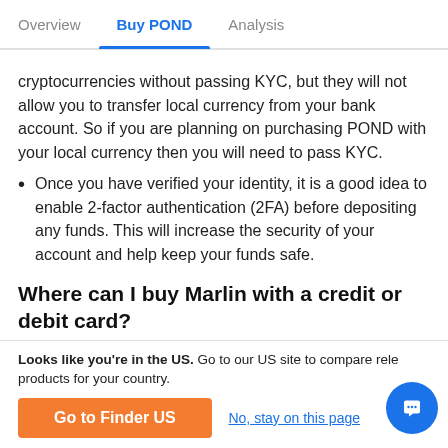Overview | Buy POND | Analysis
cryptocurrencies without passing KYC, but they will not allow you to transfer local currency from your bank account. So if you are planning on purchasing POND with your local currency then you will need to pass KYC.
Once you have verified your identity, it is a good idea to enable 2-factor authentication (2FA) before depositing any funds. This will increase the security of your account and help keep your funds safe.
Where can I buy Marlin with a credit or debit card?
Once you've created an account, you will need to deposit funds to buy POND with. You can either deposit local
Looks like you're in the US. Go to our US site to compare relevant products for your country.
Go to Finder US
No, stay on this page